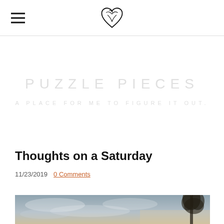PUZZLE PIECES — A PLACE FOR ME TO FIGURE IT OUT.
PUZZLE PIECES
A PLACE FOR ME TO FIGURE IT OUT.
Thoughts on a Saturday
11/23/2019   0 Comments
[Figure (photo): Outdoor sky photo with clouds and a tree silhouette on the right side, warm light near the horizon]